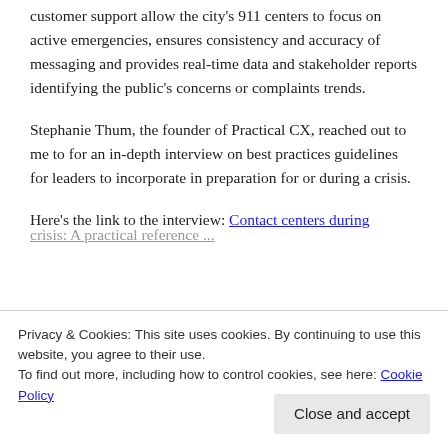customer support allow the city's 911 centers to focus on active emergencies, ensures consistency and accuracy of messaging and provides real-time data and stakeholder reports identifying the public's concerns or complaints trends.
Stephanie Thum, the founder of Practical CX, reached out to me to for an in-depth interview on best practices guidelines for leaders to incorporate in preparation for or during a crisis.
Here's the link to the interview: Contact centers during crisis: A practical reference ...
Local 911 Contact Centers
Privacy & Cookies: This site uses cookies. By continuing to use this website, you agree to their use.
To find out more, including how to control cookies, see here: Cookie Policy
Close and accept